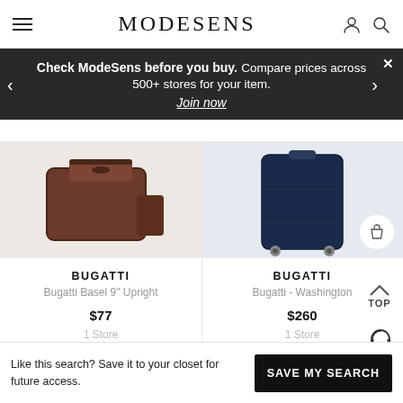MODESENS
Check ModeSens before you buy. Compare prices across 500+ stores for your item. Join now
[Figure (photo): Bugatti Basel 9" Upright bag in brown leather, cropped product image]
BUGATTI
Bugatti Basel 9" Upright
$77
1 Store
[Figure (photo): Bugatti Washington navy blue rolling luggage, cropped product image]
BUGATTI
Bugatti - Washington
$260
1 Store
Like this search? Save it to your closet for future access.
SAVE MY SEARCH